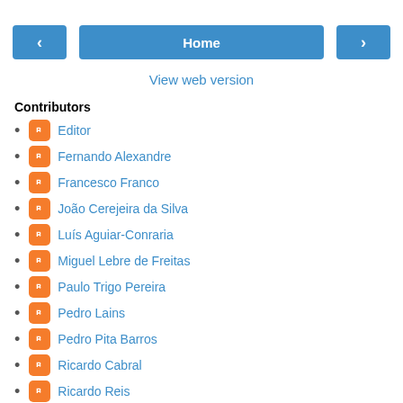[Figure (screenshot): Navigation bar with left arrow button, Home center button, and right arrow button, all in blue]
View web version
Contributors
Editor
Fernando Alexandre
Francesco Franco
João Cerejeira da Silva
Luís Aguiar-Conraria
Miguel Lebre de Freitas
Paulo Trigo Pereira
Pedro Lains
Pedro Pita Barros
Ricardo Cabral
Ricardo Reis